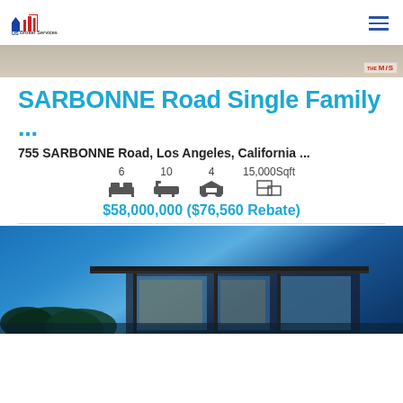US Broker Services
[Figure (photo): Top image strip with MLS badge]
SARBONNE Road Single Family ...
755 SARBONNE Road, Los Angeles, California ...
6 beds, 10 baths, 4 garage, 15,000 Sqft
$58,000,000 ($76,560 Rebate)
[Figure (photo): Modern luxury home exterior at dusk with blue sky background]